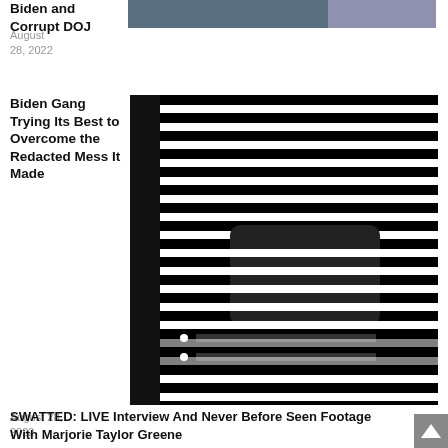Biden and Corrupt DOJ
[Figure (photo): Partial photo, top portion visible, dark/blurred image of people]
August 28, 2022
Biden Gang Trying Its Best to Overcome the Redacted Mess It Made
[Figure (photo): Heavily redacted document image with black stripes and a dark figure visible]
August 28, 2022
SWATTED: LIVE Interview And Never Before Seen Footage With Marjorie Taylor Greene